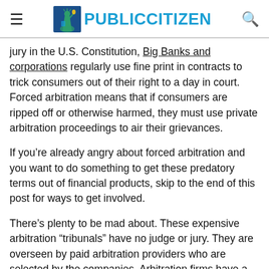PUBLIC CITIZEN
jury in the U.S. Constitution, Big Banks and corporations regularly use fine print in contracts to trick consumers out of their right to a day in court. Forced arbitration means that if consumers are ripped off or otherwise harmed, they must use private arbitration proceedings to air their grievances.
If you’re already angry about forced arbitration and you want to do something to get these predatory terms out of financial products, skip to the end of this post for ways to get involved.
There’s plenty to be mad about. These expensive arbitration “tribunals” have no judge or jury. They are overseen by paid arbitration providers who are selected by the companies. Arbitration firms have a very good reason to guarantee repeat business for